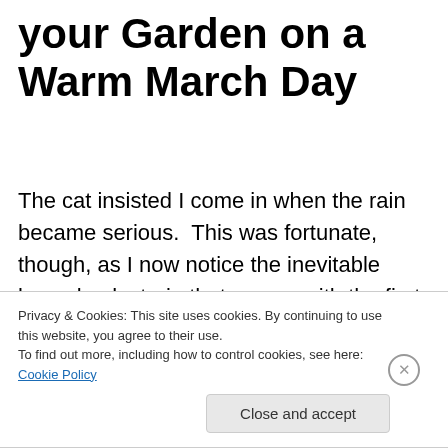your Garden on a Warm March Day
The cat insisted I come in when the rain became serious.  This was fortunate, though, as I now notice the inevitable lower back strain that comes with the first few days of returning to the garden, usually much later in the spring.
Toronto area gardeners are cooped up indoors for much of the year, and lose the physical preparedness for gardening.  Spring comes with a serious danger of injury,
Privacy & Cookies: This site uses cookies. By continuing to use this website, you agree to their use.
To find out more, including how to control cookies, see here: Cookie Policy
Close and accept